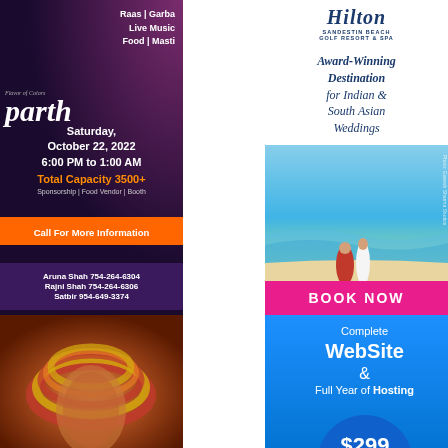[Figure (advertisement): Parth Garba event advertisement with dark purple background. Text: Raas | Garba, Live Music, Food | Masti, parth, Saturday October 22 2022, 6:00 PM to 1:00 AM, Total Capacity 3500+, Sponsorship | Food Vendor | Booth, Call For More Information, Aruna Shah 754-264-6304, Rajni Shah 754-264-6306, Satbir 954-649-3374]
[Figure (photo): Close-up photo of Indian bangles and henna hands]
[Figure (advertisement): Hilton Sandestin Beach Golf Resort & Spa advertisement. Text: Award-Winning Destination for Indian & South Asian Weddings. BOOK NOW]
[Figure (advertisement): Website advertisement on blue background: Complete WebSite & Full Year of Hosting $299]